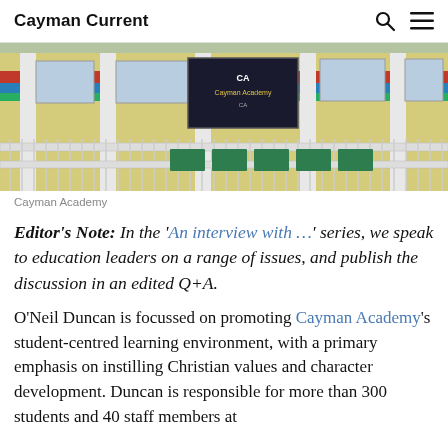Cayman Current
[Figure (photo): Exterior photo of Cayman Academy building showing yellow walls with colorful red, blue and green stripes, white iron fence in front, windows, and a sign board]
Cayman Academy
Editor's Note: In the 'An interview with …' series, we speak to education leaders on a range of issues, and publish the discussion in an edited Q+A.
O'Neil Duncan is focussed on promoting Cayman Academy's student-centred learning environment, with a primary emphasis on instilling Christian values and character development. Duncan is responsible for more than 300 students and 40 staff members at